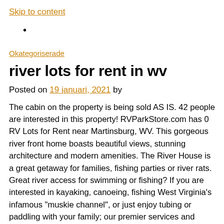Skip to content
•
Okategoriserade
river lots for rent in wv
Posted on 19 januari, 2021 by
The cabin on the property is being sold AS IS. 42 people are interested in this property! RVParkStore.com has 0 RV Lots for Rent near Martinsburg, WV. This gorgeous river front home boasts beautiful views, stunning architecture and modern amenities. The River House is a great getaway for families, fishing parties or river rats. Great river access for swimming or fishing? If you are interested in kayaking, canoeing, fishing West Virginia's infamous "muskie channel", or just enjoy tubing or paddling with your family; our premier services and equipment are right for you. Compare rentals, see map views